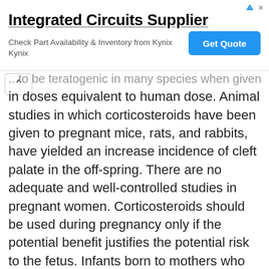[Figure (other): Advertisement banner for Integrated Circuits Supplier - Kynix, with 'Get Quote' button]
...to be teratogenic in many species when given in doses equivalent to human dose. Animal studies in which corticosteroids have been given to pregnant mice, rats, and rabbits, have yielded an increase incidence of cleft palate in the off-spring. There are no adequate and well-controlled studies in pregnant women. Corticosteroids should be used during pregnancy only if the potential benefit justifies the potential risk to the fetus. Infants born to mothers who have received corticosteroids during pregnancy should be carefully observed for signs of hypoadrenalism. Nursing Mothers Systemically administered corticosteroids appear in human milk and could suppress growth, interfere with endogenous corticosteroid production, or cause other adverse effects. Because of the potential for serious...